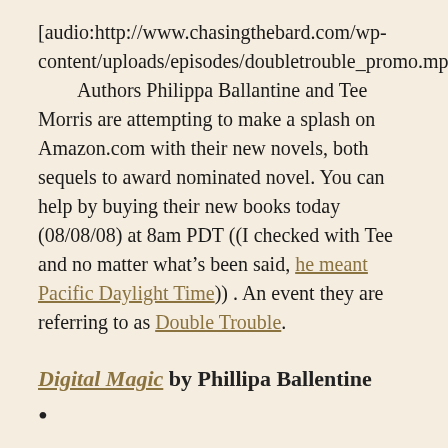[audio:http://www.chasingthebard.com/wp-content/uploads/episodes/doubletrouble_promo.mp3] Authors Philippa Ballantine and Tee Morris are attempting to make a splash on Amazon.com with their new novels, both sequels to award nominated novel. You can help by buying their new books today (08/08/08) at 8am PDT ((I checked with Tee and no matter what’s been said, he meant Pacific Daylight Time)) . An event they are referring to as Double Trouble.
Digital Magic by Phillipa Ballentine